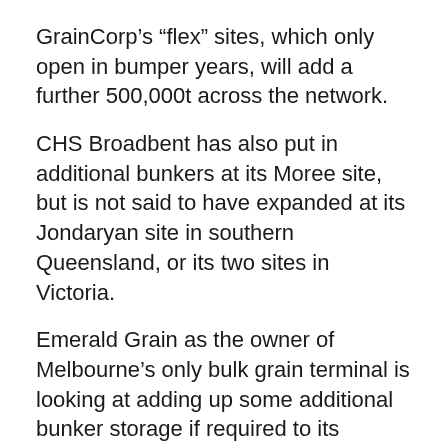GrainCorp’s “flex” sites, which only open in bumper years, will add a further 500,000t across the network.
CHS Broadbent has also put in additional bunkers at its Moree site, but is not said to have expanded at its Jondaryan site in southern Queensland, or its two sites in Victoria.
Emerald Grain as the owner of Melbourne’s only bulk grain terminal is looking at adding up some additional bunker storage if required to its network in Victoria and southern NSW.
Emerald Grain chief executive officer David Johnson said works ahead of last year’s harvest increased capacity by around 100,000t to roughly 1.1 million tonnes in total.
“We did a lot last year, and we’re looking at a